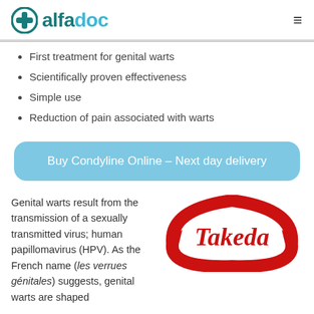alfadoc
First treatment for genital warts
Scientifically proven effectiveness
Simple use
Reduction of pain associated with warts
Buy Condyline Online – Next day delivery
Genital warts result from the transmission of a sexually transmitted virus; human papillomavirus (HPV). As the French name (les verrues génitales) suggests, genital warts are shaped
[Figure (logo): Takeda pharmaceutical company red logo]